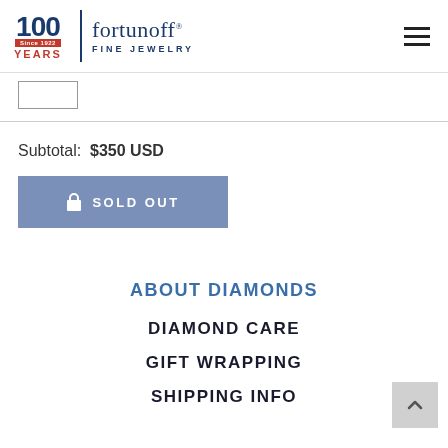Fortunoff Fine Jewelry — 100 Years Since 1922
Subtotal: $350 USD
SOLD OUT
ABOUT DIAMONDS
DIAMOND CARE
GIFT WRAPPING
SHIPPING INFO